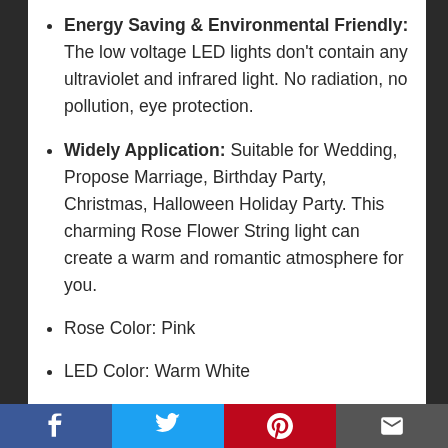Energy Saving & Environmental Friendly: The low voltage LED lights don't contain any ultraviolet and infrared light. No radiation, no pollution, eye protection.
Widely Application: Suitable for Wedding, Propose Marriage, Birthday Party, Christmas, Halloween Holiday Party. This charming Rose Flower String light can create a warm and romantic atmosphere for you.
Rose Color: Pink
LED Color: Warm White
[Figure (other): Social media sharing bar at bottom with Facebook, Twitter, Pinterest, and Email buttons]